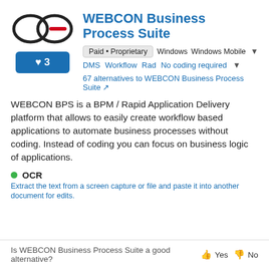[Figure (logo): WEBCON logo: two overlapping circles (infinity-like) with a red dash, in black outline]
WEBCON Business Process Suite
Paid • Proprietary   Windows   Windows Mobile
DMS   Workflow   Rad   No coding required
67 alternatives to WEBCON Business Process Suite
WEBCON BPS is a BPM / Rapid Application Delivery platform that allows to easily create workflow based applications to automate business processes without coding. Instead of coding you can focus on business logic of applications.
OCR
Extract the text from a screen capture or file and paste it into another document for edits.
Is WEBCON Business Process Suite a good alternative? Yes No